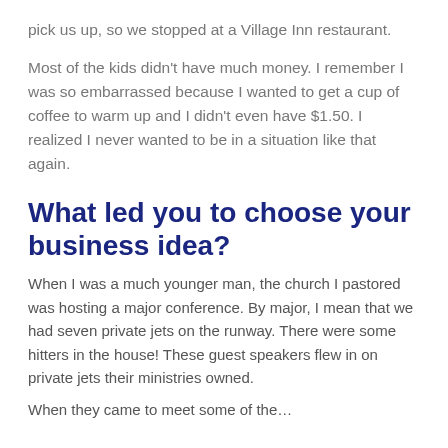pick us up, so we stopped at a Village Inn restaurant.
Most of the kids didn't have much money. I remember I was so embarrassed because I wanted to get a cup of coffee to warm up and I didn't even have $1.50. I realized I never wanted to be in a situation like that again.
What led you to choose your business idea?
When I was a much younger man, the church I pastored was hosting a major conference. By major, I mean that we had seven private jets on the runway. There were some hitters in the house! These guest speakers flew in on private jets their ministries owned.
When they came to meet some of the…